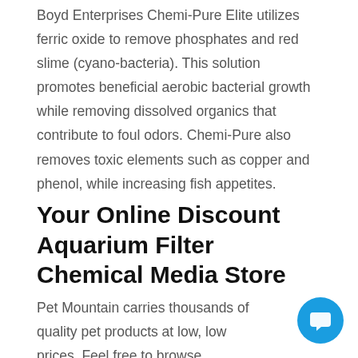Boyd Enterprises Chemi-Pure Elite utilizes ferric oxide to remove phosphates and red slime (cyano-bacteria). This solution promotes beneficial aerobic bacterial growth while removing dissolved organics that contribute to foul odors. Chemi-Pure also removes toxic elements such as copper and phenol, while increasing fish appetites.
Your Online Discount Aquarium Filter Chemical Media Store
Pet Mountain carries thousands of quality pet products at low, low prices. Feel free to browse